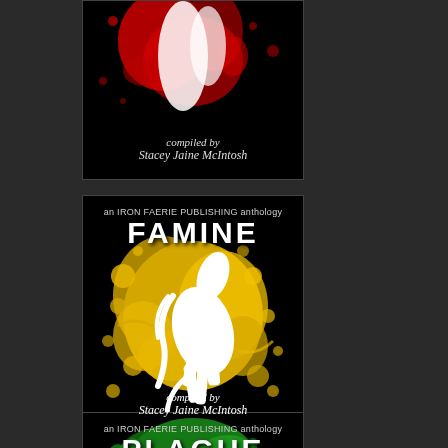[Figure (illustration): Top portion of a book cover for an Iron Faerie Publishing anthology. Black background with red paint splatter and abstract figures. Text reads 'compiled by Stacey Jaine McIntosh' at the bottom. Only partially visible.]
[Figure (illustration): Book cover for 'FAMINE' - an Iron Faerie Publishing anthology. Black background with yellow paint splatter. White silhouette of a rearing horse. Header text: 'an IRON FAERIE PUBLISHING anthology'. Title: 'FAMINE' in bold white. Footer: 'compiled by Stacey Jaine McIntosh' in italic white.]
[Figure (illustration): Partial view of a book cover for 'PLAGUE' - an Iron Faerie Publishing anthology. Black background with green paint splatter. Header text: 'an IRON FAERIE PUBLISHING anthology'. Title: 'PLAGUE' in bold white. Only top portion visible.]